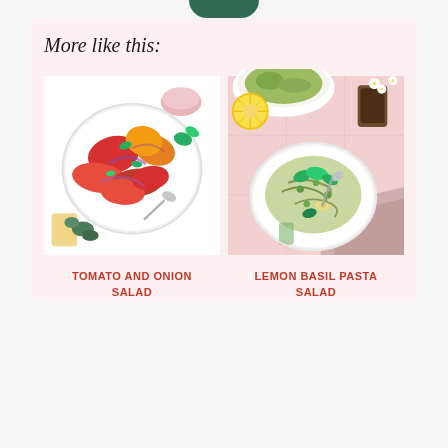More like this:
[Figure (photo): Overhead photo of a tomato and onion salad in a white bowl with a spoon, surrounded by fresh herbs, a small bowl of salt, and a glass of dressing on a white marble surface.]
TOMATO AND ONION SALAD
[Figure (photo): Overhead photo of a lemon basil pasta salad in a white bowl with a spoon, garnished with fresh basil leaves, with a lemon slice, dark drink glass, and pink napkin visible on a pink tile surface.]
LEMON BASIL PASTA SALAD